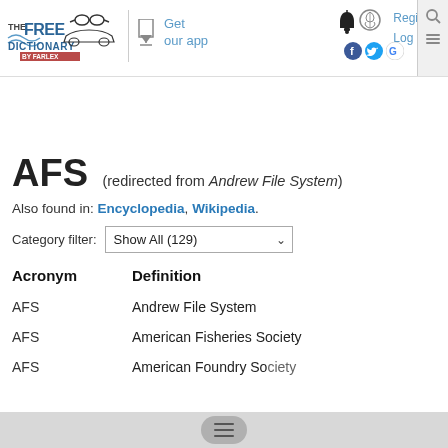[Figure (logo): The Free Dictionary by Farlex logo]
AFS  (redirected from Andrew File System)
Also found in: Encyclopedia, Wikipedia.
Category filter: Show All (129)
| Acronym | Definition |
| --- | --- |
| AFS | Andrew File System |
| AFS | American Fisheries Society |
| AFS | American Foundry Society |